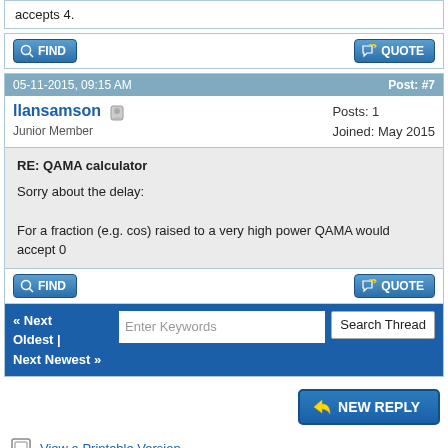accepts 4.
FIND | QUOTE (buttons)
05-11-2015, 09:15 AM  Post: #7
llansamson  Junior Member  Posts: 1  Joined: May 2015
RE: QAMA calculator
Sorry about the delay:

For a fraction (e.g. cos) raised to a very high power QAMA would accept 0
FIND | QUOTE (buttons)
« Next Oldest | Next Newest »  Enter Keywords  Search Thread
NEW REPLY
View a Printable Version
Send this Thread to a Friend